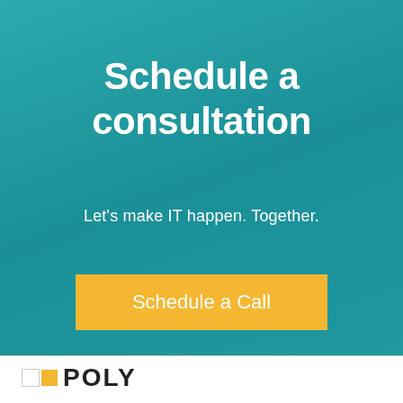Schedule a consultation
Let's make IT happen. Together.
Schedule a Call
[Figure (logo): POLY logo with two squares (white and yellow) followed by the text POLY in large bold letters]